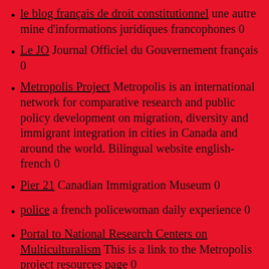le blog français de droit constitutionnel une autre mine d'informations juridiques francophones 0
Le JO Journal Officiel du Gouvernement français 0
Metropolis Project Metropolis is an international network for comparative research and public policy development on migration, diversity and immigrant integration in cities in Canada and around the world. Bilingual website english-french 0
Pier 21 Canadian Immigration Museum 0
police a french policewoman daily experience 0
Portal to National Research Centers on Multiculturalism This is a link to the Metropolis project resources page 0
Renford Reese on American multiculturalism and beyond Zimmerman Trial Update, The Colorful Flags program, 20th Anniversary of L.A. Riots, Prison Industrial Complex, and